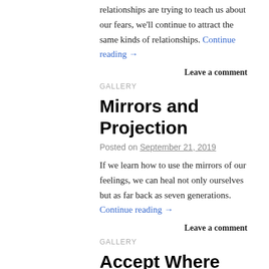relationships are trying to teach us about our fears, we'll continue to attract the same kinds of relationships. Continue reading →
Leave a comment
GALLERY
Mirrors and Projection
Posted on September 21, 2019
If we learn how to use the mirrors of our feelings, we can heal not only ourselves but as far back as seven generations. Continue reading →
Leave a comment
GALLERY
Accept Where You Are
Posted on August 17, 2019